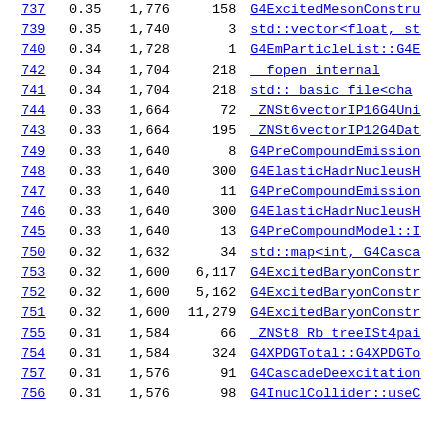| ID | Val1 | Val2 | Val3 | Name |
| --- | --- | --- | --- | --- |
| 737 | 0.35 | 1,776 | 158 | G4ExcitedMesonConstru |
| 739 | 0.35 | 1,740 | 3 | std::vector<float, st |
| 740 | 0.34 | 1,728 | 1 | G4EmParticleList::G4E |
| 742 | 0.34 | 1,704 | 218 | _fopen_internal |
| 741 | 0.34 | 1,704 | 218 | std:: basic_file<cha |
| 744 | 0.33 | 1,664 | 72 | _ZNSt6vectorIP16G4Uni |
| 743 | 0.33 | 1,664 | 195 | _ZNSt6vectorIP12G4Dat |
| 749 | 0.33 | 1,640 | 8 | G4PreCompoundEmission |
| 748 | 0.33 | 1,640 | 300 | G4ElasticHadrNucleusH |
| 747 | 0.33 | 1,640 | 11 | G4PreCompoundEmission |
| 746 | 0.33 | 1,640 | 300 | G4ElasticHadrNucleusH |
| 745 | 0.33 | 1,640 | 13 | G4PreCompoundModel::I |
| 750 | 0.32 | 1,632 | 34 | std::map<int, G4Casca |
| 753 | 0.32 | 1,600 | 6,117 | G4ExcitedBaryonConstr |
| 752 | 0.32 | 1,600 | 5,162 | G4ExcitedBaryonConstr |
| 751 | 0.32 | 1,600 | 11,279 | G4ExcitedBaryonConstr |
| 755 | 0.31 | 1,584 | 66 | _ZNSt8 Rb_treeISt4pai |
| 754 | 0.31 | 1,584 | 324 | G4XPDGTotal::G4XPDGTo |
| 757 | 0.31 | 1,576 | 91 | G4CascadeDeexcitation |
| 756 | 0.31 | 1,576 | 98 | G4InuclCollider::useC |